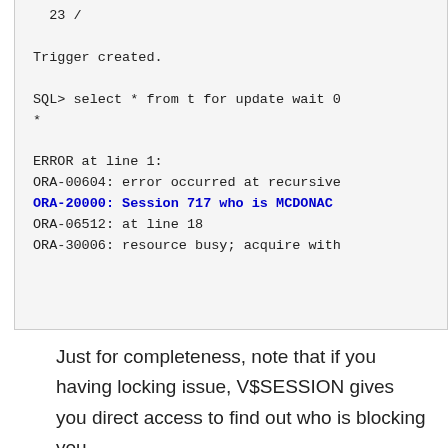23 /

Trigger created.

SQL> select * from t for update wait 0
*

ERROR at line 1:
ORA-00604: error occurred at recursive
ORA-20000: Session 717 who is MCDONAC
ORA-06512: at line 18
ORA-30006: resource busy; acquire with
Just for completeness, note that if you having locking issue, V$SESSION gives you direct access to find out who is blocking you.